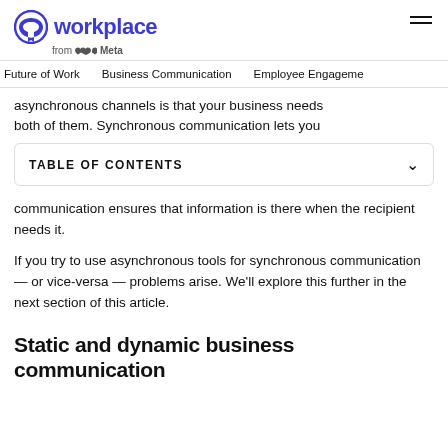Workplace from Meta
Future of Work   Business Communication   Employee Engagement
asynchronous channels is that your business needs both of them. Synchronous communication lets you
TABLE OF CONTENTS
communication ensures that information is there when the recipient needs it.

If you try to use asynchronous tools for synchronous communication — or vice-versa — problems arise. We'll explore this further in the next section of this article.
Static and dynamic business communication